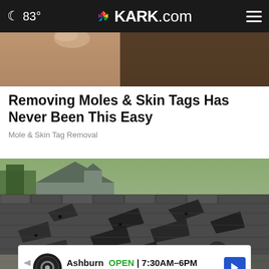83° KARK.com
[Figure (photo): Close-up photo of a person's face, cropped - top article image strip]
Removing Moles & Skin Tags Has Never Been This Easy
Mole & Skin Tag Removal
[Figure (photo): Photo of damaged roof shingles, peeling and curling up on a house roof]
Ashburn OPEN | 7:30AM–6PM 43781 Parkhurst Plaza, Ashburn